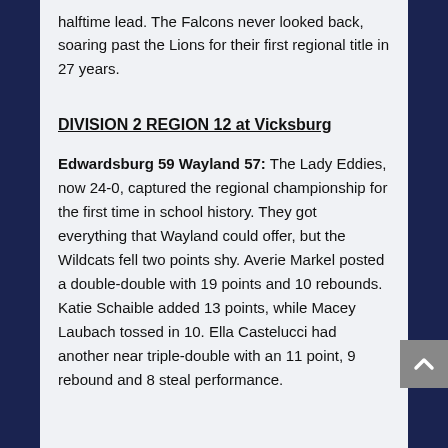halftime lead. The Falcons never looked back, soaring past the Lions for their first regional title in 27 years.
DIVISION 2 REGION 12 at Vicksburg
Edwardsburg 59 Wayland 57: The Lady Eddies, now 24-0, captured the regional championship for the first time in school history. They got everything that Wayland could offer, but the Wildcats fell two points shy. Averie Markel posted a double-double with 19 points and 10 rebounds. Katie Schaible added 13 points, while Macey Laubach tossed in 10. Ella Castelucci had another near triple-double with an 11 point, 9 rebound and 8 steal performance.